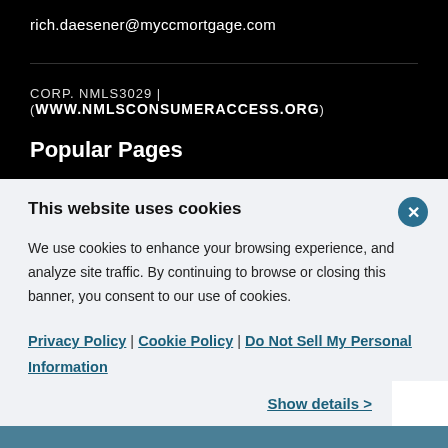rich.daesener@myccmortgage.com
CORP. NMLS3029 | (WWW.NMLSCONSUMERACCESS.ORG)
Popular Pages
This website uses cookies
We use cookies to enhance your browsing experience, and analyze site traffic. By continuing to browse or closing this banner, you consent to our use of cookies.
Privacy Policy | Cookie Policy | Do Not Sell My Personal Information
Show details >
ACCEPT